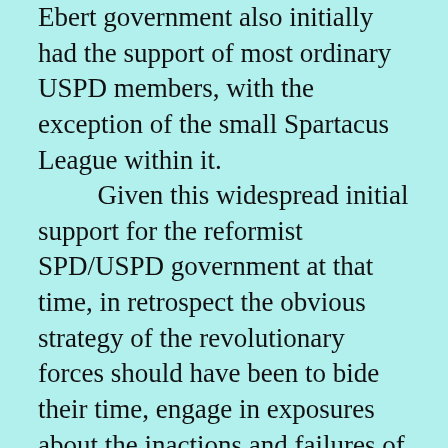Ebert government also initially had the support of most ordinary USPD members, with the exception of the small Spartacus League within it. Given this widespread initial support for the reformist SPD/USPD government at that time, in retrospect the obvious strategy of the revolutionary forces should have been to bide their time, engage in exposures about the inactions and failures of the government, find out from the people their most urgent unmet needs and try to lead them in struggle around those issues, and wait briefly for the workers and masses to see for themselves that the SPD/USPD goverment needed to be overthrown and replaced by a government of the new workers' councils. This is what Lenin correctly insisted that the Bolsheviks do in Russia during the summer of 1917. The other argument at the time, however, may have been that in some areas (especially Berlin) the revolutionary-minded workers were already on the